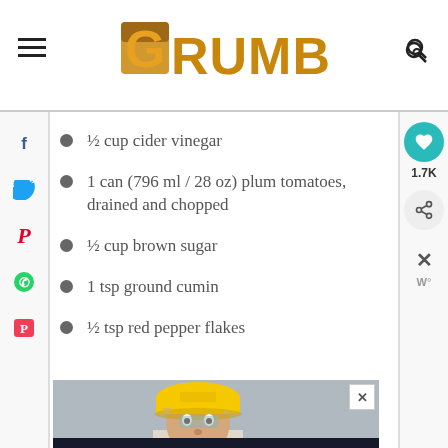GRUMB
½ cup cider vinegar
1 can (796 ml / 28 oz) plum tomatoes, drained and chopped
½ cup brown sugar
1 tsp ground cumin
½ tsp red pepper flakes
[Figure (photo): Advertisement showing a person wearing a yellow hard hat with text SHE CAN STEM]